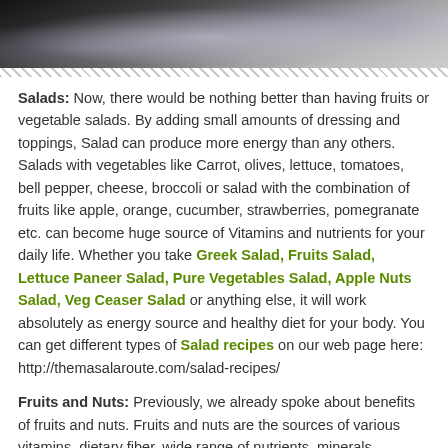[Figure (photo): Cropped photo showing food items, appears to be vegetables or salad ingredients in dark/muted tones]
Salads: Now, there would be nothing better than having fruits or vegetable salads. By adding small amounts of dressing and toppings, Salad can produce more energy than any others. Salads with vegetables like Carrot, olives, lettuce, tomatoes, bell pepper, cheese, broccoli or salad with the combination of fruits like apple, orange, cucumber, strawberries, pomegranate etc. can become huge source of Vitamins and nutrients for your daily life. Whether you take Greek Salad, Fruits Salad, Lettuce Paneer Salad, Pure Vegetables Salad, Apple Nuts Salad, Veg Ceaser Salad or anything else, it will work absolutely as energy source and healthy diet for your body. You can get different types of Salad recipes on our web page here: http://themasalaroute.com/salad-recipes/
Fruits and Nuts: Previously, we already spoke about benefits of fruits and nuts. Fruits and nuts are the sources of various vitamins, dietary fiber, wide range of nutrients, minerals including zinc, calcium, magnesium, potassium and antioxidant minerals as well. Walnuts, Hazelnuts, Pistachios, Cashews, Almonds, Raisins – all are good for your health as it can reduce diabetes and risk of heart disease and also